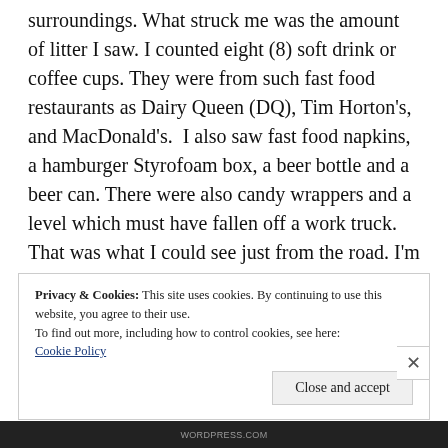surroundings. What struck me was the amount of litter I saw. I counted eight (8) soft drink or coffee cups. They were from such fast food restaurants as Dairy Queen (DQ), Tim Horton's, and MacDonald's.  I also saw fast food napkins, a hamburger Styrofoam box, a beer bottle and a beer can. There were also candy wrappers and a level which must have fallen off a work truck. That was what I could see just from the road. I'm sure there was much more litter as the grass was long in
Privacy & Cookies: This site uses cookies. By continuing to use this website, you agree to their use.
To find out more, including how to control cookies, see here: Cookie Policy
Close and accept
WORDPRESS.COM